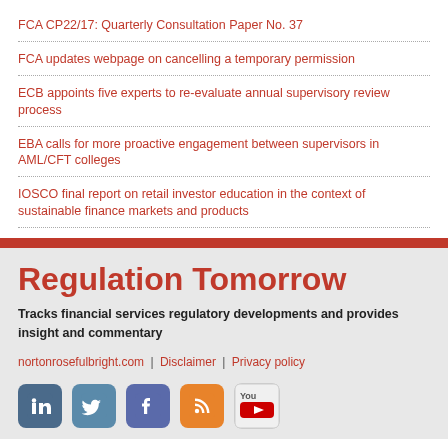FCA CP22/17: Quarterly Consultation Paper No. 37
FCA updates webpage on cancelling a temporary permission
ECB appoints five experts to re-evaluate annual supervisory review process
EBA calls for more proactive engagement between supervisors in AML/CFT colleges
IOSCO final report on retail investor education in the context of sustainable finance markets and products
Regulation Tomorrow
Tracks financial services regulatory developments and provides insight and commentary
nortonrosefulbright.com | Disclaimer | Privacy policy
[Figure (illustration): Social media icons: LinkedIn, Twitter, Facebook, RSS feed, YouTube]